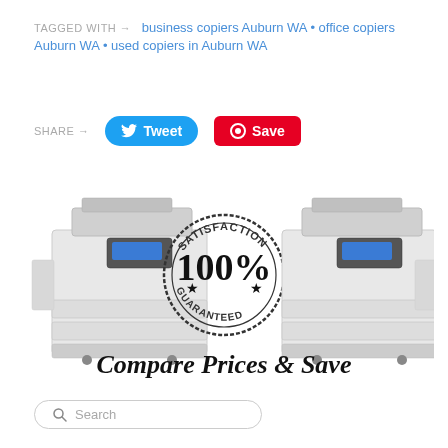TAGGED WITH → business copiers Auburn WA • office copiers Auburn WA • used copiers in Auburn WA
SHARE →
[Figure (screenshot): Two office copier machines flanking a '100% Satisfaction Guaranteed' circular stamp logo, with bold text 'Compare Prices & Save' below]
Search